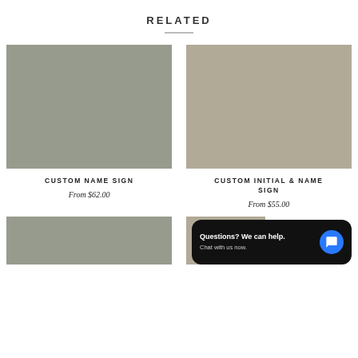RELATED
[Figure (photo): Placeholder gray-green product image for Custom Name Sign]
CUSTOM NAME SIGN
From $62.00
[Figure (photo): Placeholder tan-gray product image for Custom Initial & Name Sign]
CUSTOM INITIAL & NAME SIGN
From $55.00
[Figure (photo): Partial product image at bottom left]
[Figure (photo): Partial product image at bottom right with chat widget overlay]
Questions? We can help. Chat with us now.